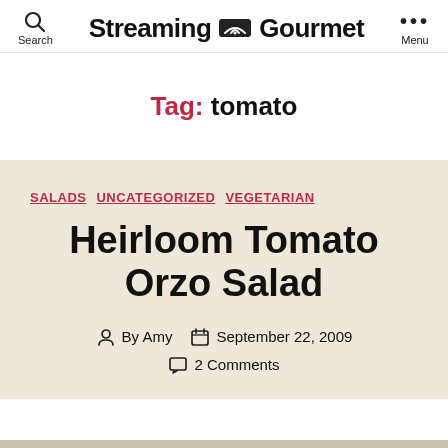Search | Streaming Gourmet | Menu
Tag: tomato
SALADS  UNCATEGORIZED  VEGETARIAN
Heirloom Tomato Orzo Salad
By Amy  September 22, 2009  2 Comments